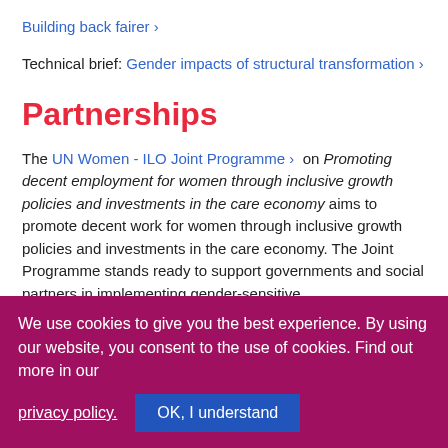Building back fairer ›
Technical brief: Gender impacts of structural transformation ›
Partnerships
The UN Women - ILO Joint Programme › on Promoting decent employment for women through inclusive growth policies and investments in the care economy aims to promote decent work for women through inclusive growth policies and investments in the care economy. The Joint Programme stands ready to support governments and social partners in implementing gender-sensitive
We use cookies to give you the best experience. By using our website, you consent to the use of cookies. Find out more in our
privacy policy.
OK, I understand